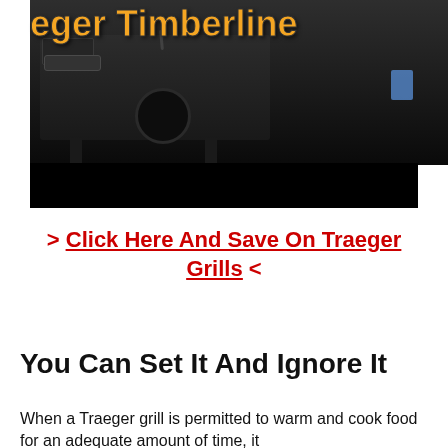[Figure (photo): Traeger Timberline grill photograph with orange title text overlay reading 'eger Timberline' and a black bar below the image]
> Click Here And Save On Traeger Grills <
You Can Set It And Ignore It
When a Traeger grill is permitted to warm and cook food for an adequate amount of time, it...